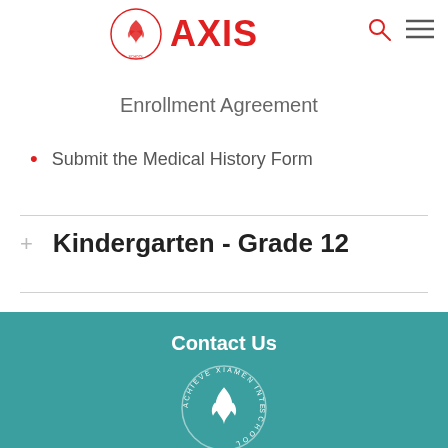AXIS — Achieve Xiamen International School
Enrollment Agreement
Submit the Medical History Form
Kindergarten - Grade 12
Contact Us